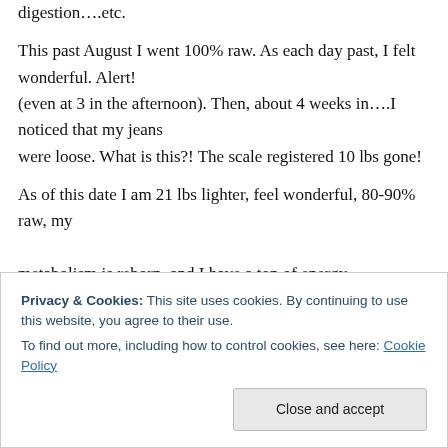digestion….etc.

This past August I went 100% raw. As each day past, I felt wonderful. Alert! (even at 3 in the afternoon). Then, about 4 weeks in….I noticed that my jeans were loose. What is this?! The scale registered 10 lbs gone!

As of this date I am 21 lbs lighter, feel wonderful, 80-90% raw, my metabolism is reborn, and I have a ton of energy. I no longer struggle with fluctuations in my
Privacy & Cookies: This site uses cookies. By continuing to use this website, you agree to their use.
To find out more, including how to control cookies, see here: Cookie Policy
Close and accept